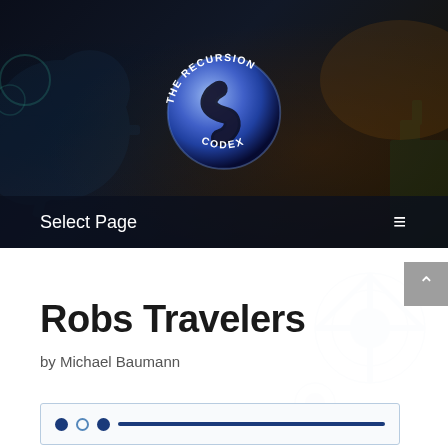[Figure (logo): The Recursion Codex circular logo — a blue-purple glowing sphere with a fractal S-spiral shape inside, text 'THE RECURSION CODEX' arranged in an arc around the circle, set against a dark fantasy background with gear/cog shapes]
Select Page
Robs Travelers
by Michael Baumann
[Figure (other): A media slider/carousel control with two filled dots, one empty dot, and a dark blue progress bar, inside a light bordered container]